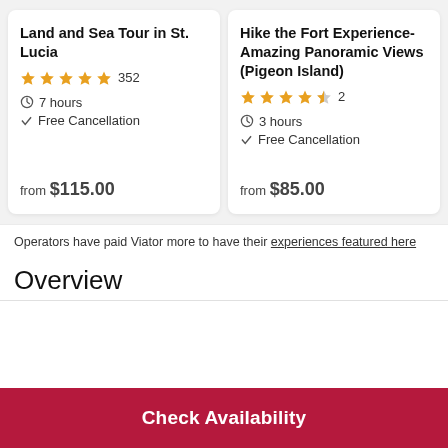Land and Sea Tour in St. Lucia
★★★★★ 352
⏱ 7 hours
✓ Free Cancellation
from $115.00
Hike the Fort Experience- Amazing Panoramic Views (Pigeon Island)
★★★★½ 2
⏱ 3 hours
✓ Free Cancellation
from $85.00
Operators have paid Viator more to have their experiences featured here
Overview
Check Availability